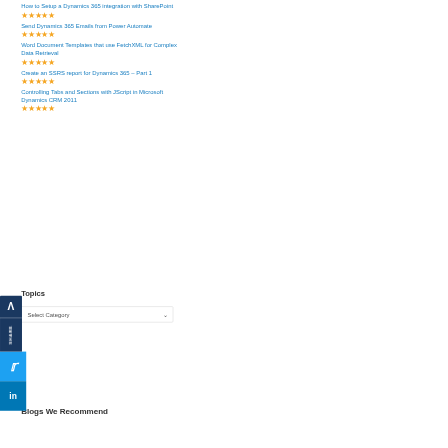How to Setup a Dynamics 365 integration with SharePoint ★★★★★
Send Dynamics 365 Emails from Power Automate ★★★★★
Word Document Templates that use FetchXML for Complex Data Retrieval ★★★★★
Create an SSRS report for Dynamics 365 – Part 1 ★★★★★
Controlling Tabs and Sections with JScript in Microsoft Dynamics CRM 2011 ★★★★★
Topics
Select Category
Blogs We Recommend